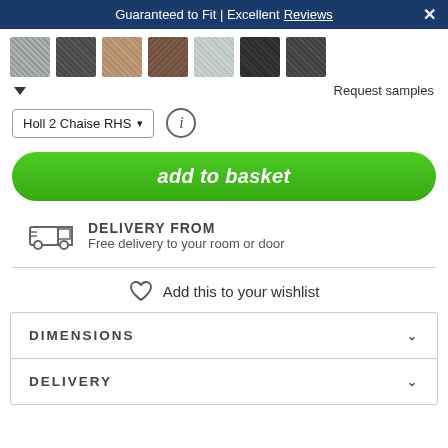Guaranteed to Fit | Excellent Reviews
[Figure (photo): Seven fabric swatches in a row: light grey, dark grey, tan/taupe, dark brown, light blue-grey, near-black, and charcoal.]
Request samples
Holl 2 Chaise RHS (dropdown)
add to basket
DELIVERY FROM
Free delivery to your room or door
Add this to your wishlist
DIMENSIONS
DELIVERY